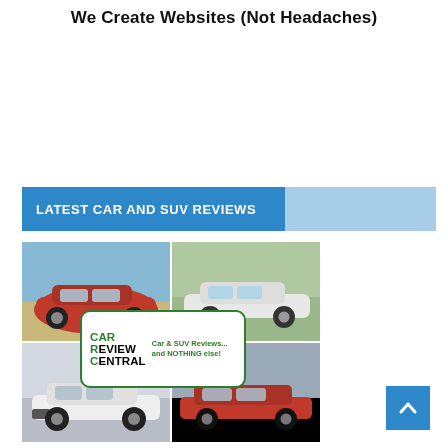We Create Websites (Not Headaches)
LATEST CAR AND SUV REVIEWS
[Figure (photo): Collage of four car photos: red Mazda CX-9 SUV (top-left), white VW Tiguan SUV (top-right), white Maserati Levante SUV (bottom-left), red Peugeot 308 GTi hatchback (bottom-right), with Car Review Central logo overlay in the center]
[Figure (logo): Car Review Central logo with green rounded rectangle border, text 'CAR REVIEW CENTRAL' and tagline 'Car & SUV Reviews... and NOTHING else!']